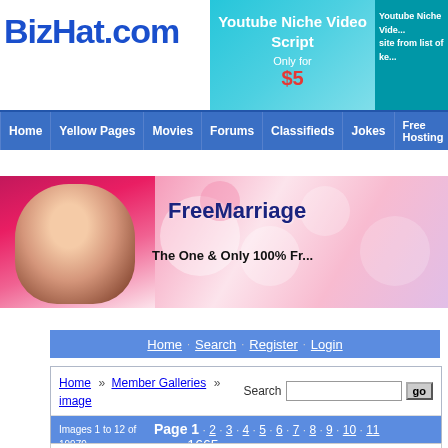BizHat.com
[Figure (screenshot): Top advertisement banner for Youtube Niche Video Script, Only for $5]
[Figure (screenshot): Right side ad banner: Youtube Niche Video site from list of ke...]
Home · Yellow Pages · Movies · Forums · Classifieds · Jokes · Free Hosting · Free Blogs
[Figure (photo): FreeMarriage banner with woman in traditional dress on pink bokeh background. Text: FreeMarriag... The One & Only 100% Fr...]
Home · Search · Register · Login
Home » Member Galleries » image
Images 1 to 12 of 19979
Page 1 · 2 · 3 · 4 · 5 · 6 · 7 · 8 · 9 · 10 · 11 ... 1665 »
[Figure (photo): Thumbnail gallery showing 4 partial images: woman in red dress, woman outdoors, food/sweets tray, woman in colorful sari]